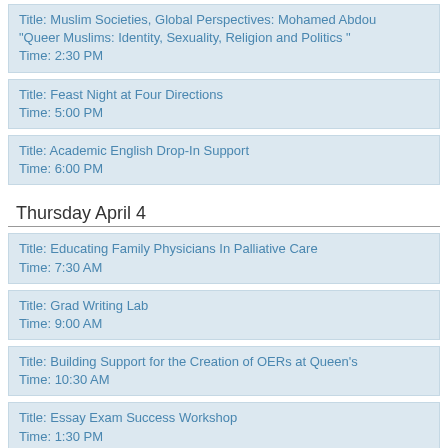Title:  Muslim Societies, Global Perspectives: Mohamed Abdou "Queer Muslims: Identity, Sexuality, Religion and Politics "
Time:  2:30 PM
Title:  Feast Night at Four Directions
Time:  5:00 PM
Title:  Academic English Drop-In Support
Time:  6:00 PM
Thursday April 4
Title:  Educating Family Physicians In Palliative Care
Time:  7:30 AM
Title:  Grad Writing Lab
Time:  9:00 AM
Title:  Building Support for the Creation of OERs at Queen's
Time:  10:30 AM
Title:  Essay Exam Success Workshop
Time:  1:30 PM